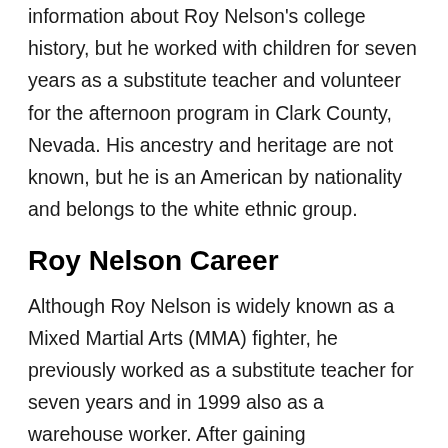information about Roy Nelson's college history, but he worked with children for seven years as a substitute teacher and volunteer for the afternoon program in Clark County, Nevada. His ancestry and heritage are not known, but he is an American by nationality and belongs to the white ethnic group.
Roy Nelson Career
Although Roy Nelson is widely known as a Mixed Martial Arts (MMA) fighter, he previously worked as a substitute teacher for seven years and in 1999 also as a warehouse worker. After gaining considerable experience in karate in his teenage years, Nelson